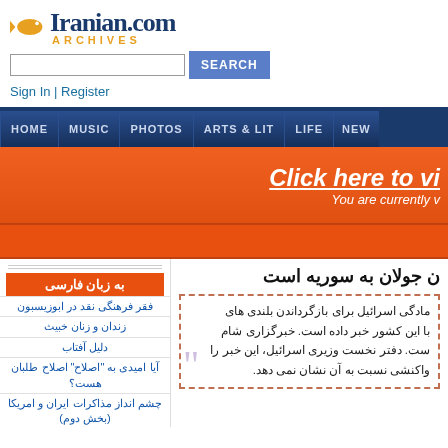[Figure (logo): Iranian.com Archives logo with goldfish icon]
Sign In | Register
HOME | MUSIC | PHOTOS | ARTS & LIT | LIFE | NEWS
[Figure (infographic): Orange banner: Click here to vi... You are currently v...]
به زبان فارسی
فقر فرهنگی نقد در ابوزیسبون
زندان و زنان خبیث
دلیل آفتاب
آیا امیدی به "اصلاح" اصلاح طلبان هست؟
چشم انداز مذاکرات ایران و امریکا (بخش دوم)
بیشتر
ن جولان به سوریه است
مادگی اسرائیل برای بازگرداندن بلندی های با این کشور خبر داده است. خبرگزاری شام ست. دفتر نخست وزیری اسرائیل، این خبر را واکنشی نسبت به آن نشان نمی دهد.